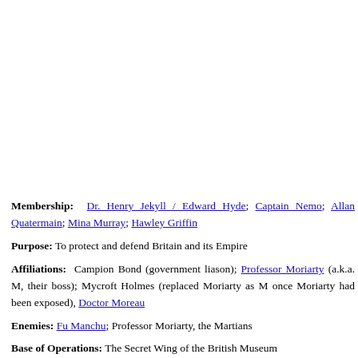Membership: Dr. Henry Jekyll / Edward Hyde; Captain Nemo; Allan Quatermain; Mina Murray; Hawley Griffin
Purpose: To protect and defend Britain and its Empire
Affiliations: Campion Bond (government liason); Professor Moriarty (a.k.a. M, their boss); Mycroft Holmes (replaced Moriarty as M once Moriarty had been exposed), Doctor Moreau
Enemies: Fu Manchu; Professor Moriarty, the Martians
Base of Operations: The Secret Wing of the British Museum